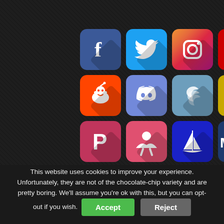[Figure (screenshot): Grid of 12 social media platform icons: Facebook, Twitter, Instagram, YouTube, Reddit, Discord, Steem, Idea/Bulb, Parler, Clapper, MeWe (sailboat), MeWe — arranged in 3 rows of 4 on a dark background]
TRENDING NOW
This website uses cookies to improve your experience. Unfortunately, they are not of the chocolate-chip variety and are pretty boring. We'll assume you're ok with this, but you can opt-out if you wish.